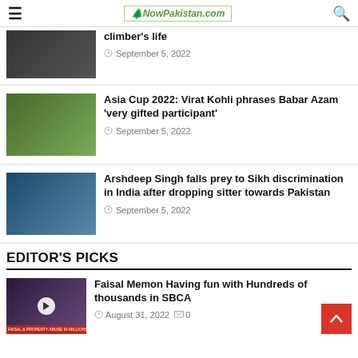NowPakistan.com
climber's life — September 5, 2022
Asia Cup 2022: Virat Kohli phrases Babar Azam 'very gifted participant'
September 5, 2022
Arshdeep Singh falls prey to Sikh discrimination in India after dropping sitter towards Pakistan
September 5, 2022
EDITOR'S PICKS
Faisal Memon Having fun with Hundreds of thousands in SBCA
August 31, 2022  0